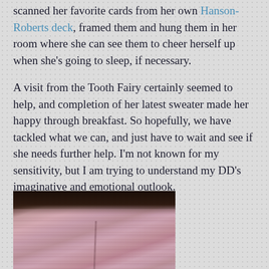scanned her favorite cards from her own Hanson-Roberts deck, framed them and hung them in her room where she can see them to cheer herself up when she's going to sleep, if necessary.
A visit from the Tooth Fairy certainly seemed to help, and completion of her latest sweater made her happy through breakfast. So hopefully, we have tackled what we can, and just have to wait and see if she needs further help. I'm not known for my sensitivity, but I am trying to understand my DD's imaginative and emotional outlook.
[Figure (photo): A photo of a pink/mauve knitted sweater laid out, with dark hair or fabric visible at the top of the image.]